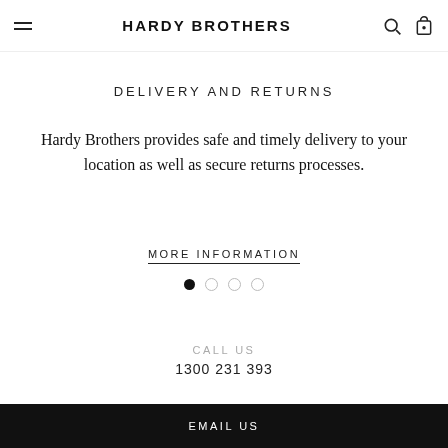HARDY BROTHERS
DELIVERY AND RETURNS
Hardy Brothers provides safe and timely delivery to your location as well as secure returns processes.
MORE INFORMATION
[Figure (other): Pagination dots: one filled black dot followed by three empty circle dots]
CALL US
1300 231 393
EMAIL US